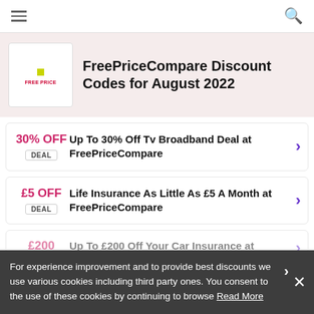Navigation bar with hamburger menu and search icon
[Figure (logo): FreePriceCompare logo with yellow dot and red text]
FreePriceCompare Discount Codes for August 2022
30% OFF — Up To 30% Off Tv Broadband Deal at FreePriceCompare — DEAL
£5 OFF — Life Insurance As Little As £5 A Month at FreePriceCompare — DEAL
£200 — Up To £200 Off Your Car Insurance at FreePriceCompare — DEAL
For experience improvement and to provide best discounts we use various cookies including third party ones. You consent to the use of these cookies by continuing to browse Read More